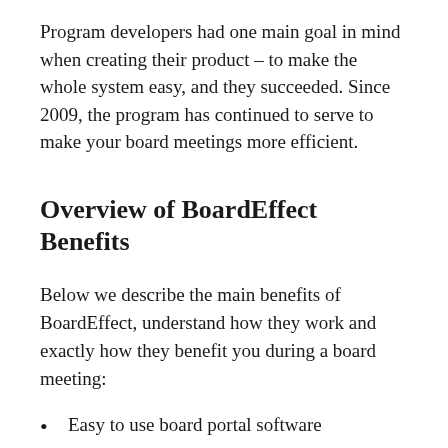Program developers had one main goal in mind when creating their product – to make the whole system easy, and they succeeded. Since 2009, the program has continued to serve to make your board meetings more efficient.
Overview of BoardEffect Benefits
Below we describe the main benefits of BoardEffect, understand how they work and exactly how they benefit you during a board meeting:
Easy to use board portal software